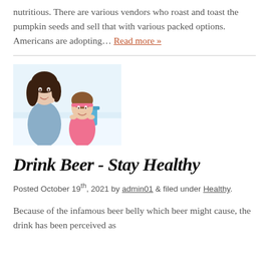nutritious. There are various vendors who roast and toast the pumpkin seeds and sell that with various packed options. Americans are adopting… Read more »
[Figure (photo): A woman and a young girl smiling, sitting at a table with dental/hygiene items in the background, light blue and white tones]
Drink Beer - Stay Healthy
Posted October 19th, 2021 by admin01 & filed under Healthy.
Because of the infamous beer belly which beer might cause, the drink has been perceived as